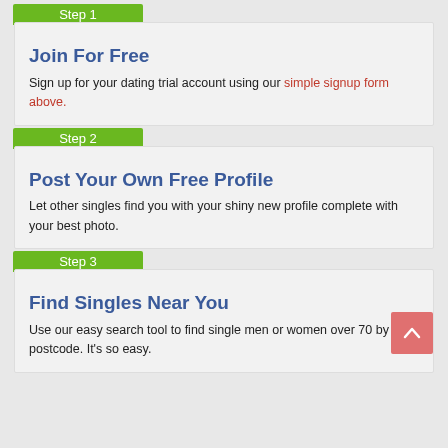Step 1
Join For Free
Sign up for your dating trial account using our simple signup form above.
Step 2
Post Your Own Free Profile
Let other singles find you with your shiny new profile complete with your best photo.
Step 3
Find Singles Near You
Use our easy search tool to find single men or women over 70 by postcode. It's so easy.